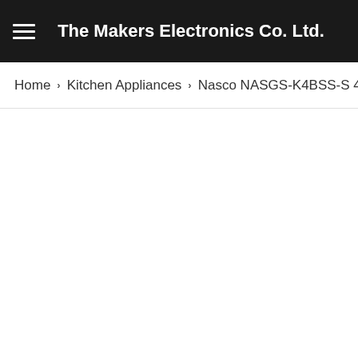The Makers Electronics Co. Ltd.
Home > Kitchen Appliances > Nasco NASGS-K4BSS-S 4 Burner G